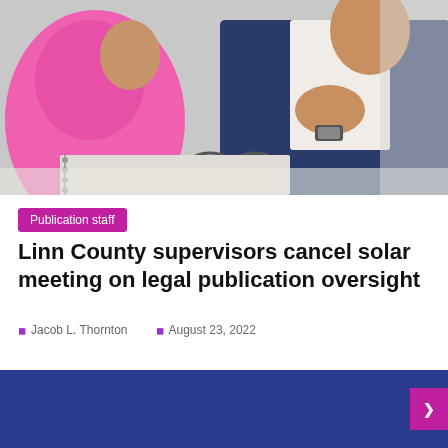[Figure (photo): Two people at a meeting table — person in pink shirt on left, person in dark blue suit with arms crossed on right, glasses and notebook on table]
Publication staff
Linn County supervisors cancel solar meeting on legal publication oversight
Jacob L. Thornton   August 23, 2022
[Figure (other): Dark blue bar at the bottom of the page with a magenta/pink tag on the right side]